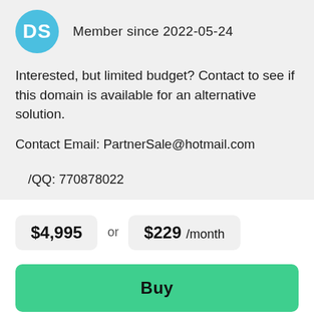[Figure (illustration): Circular blue avatar with white letters DS]
Member since 2022-05-24
Interested, but limited budget? Contact to see if this domain is available for an alternative solution.
Contact Email: PartnerSale@hotmail.com
/QQ: 770878022
$4,995  or  $229 /month
Buy